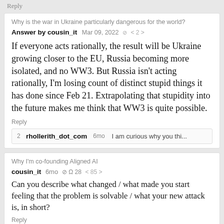Reply
Why is the war in Ukraine particularly dangerous for the world?
Answer by cousin_it   Mar 09, 2022  ⊘  < 2 >
If everyone acts rationally, the result will be Ukraine growing closer to the EU, Russia becoming more isolated, and no WW3. But Russia isn't acting rationally, I'm losing count of distinct stupid things it has done since Feb 21. Extrapolating that stupidity into the future makes me think that WW3 is quite possible.
Reply
2  rhollerith_dot_com   6mo   I am curious why you thi...
Why I'm co-founding Aligned AI
cousin_it   6mo  ⊘  Ω 28   < 85 >
Can you describe what changed / what made you start feeling that the problem is solvable / what your new attack is, in short?
Reply